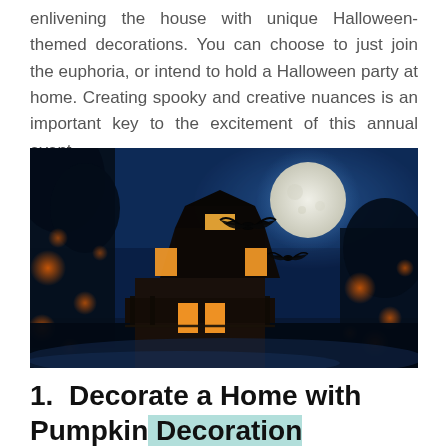enlivening the house with unique Halloween-themed decorations. You can choose to just join the euphoria, or intend to hold a Halloween party at home. Creating spooky and creative nuances is an important key to the excitement of this annual event.
[Figure (photo): A spooky Halloween night scene showing a house with glowing orange windows, bats flying against a large full moon in a deep blue sky, with orange bokeh lights surrounding the scene.]
1.  Decorate a Home with Pumpkin Decoration